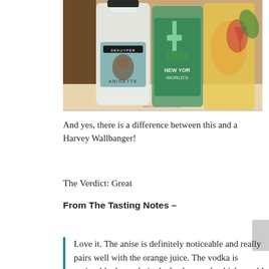[Figure (photo): Photo of several bottles of liquor lined up on a surface, including a clear bottle of DeKuyper Anisette in the foreground, a 1964 New York World's Fair themed bottle in the middle, and other colorful bottles in the background. A watermark reads www.midcenturymenu.com.]
And yes, there is a difference between this and a Harvey Wallbanger!
The Verdict: Great
From The Tasting Notes –
Love it. The anise is definitely noticeable and really pairs well with the orange juice. The vodka is noticeable, but only in the background, which would make this a good drink to make if all you have around is